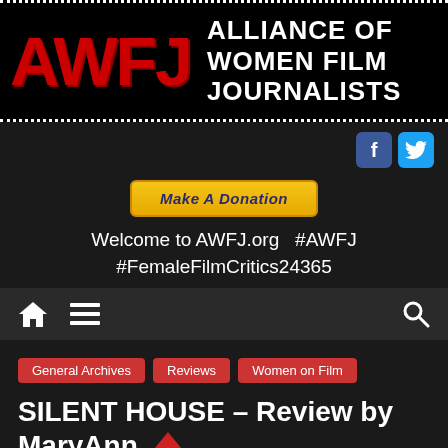[Figure (logo): Alliance of Women Film Journalists (AWFJ) logo banner — large red bold AWFJ letters on black background with white dotted border, alongside white uppercase text reading ALLIANCE OF WOMEN FILM JOURNALISTS]
[Figure (infographic): Social media icons: blue Facebook 'f' square and light blue Twitter bird square]
[Figure (infographic): Gold/yellow 'Make A Donation' button with dark blue bold italic text]
Welcome to AWFJ.org   #AWFJ
#FemaleFilmCritics24365
[Figure (infographic): Navigation bar with home icon, hamburger menu icon on left, and search magnifier icon on right, on dark gray background]
General Archives
Reviews
Women on Film
SILENT HOUSE – Review by MaryAnn Johanson